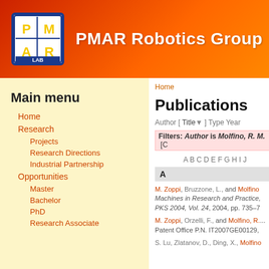PMAR Robotics Group
Main menu
Home
Research
Projects
Research Directions
Industrial Partnership
Opportunities
Master
Bachelor
PhD
Research Associate
Home
Publications
Author [ Title ] Type Year
Filters: Author is Molfino, R. M. [C
A B C D E F G H I J
A
M. Zoppi, Bruzzone, L., and Molfino... Machines in Research and Practice, PKS 2004, Vol. 24, 2004, pp. 735–7
M. Zoppi, Orzelli, F., and Molfino, R... Patent Office P.N. IT2007GE00129,
S. Lu, Zlatanov, D., Ding, X., Molfino...